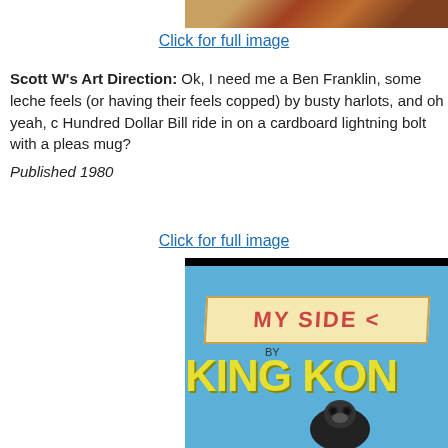[Figure (photo): Partial view of a book or comic cover image at top, cropped]
Click for full image
Scott W's Art Direction: Ok, I need me a Ben Franklin, some leche... feels (or having their feels copped) by busty harlots, and oh yeah, c... Hundred Dollar Bill ride in on a cardboard lightning bolt with a pleas... mug?
Published 1980
Click for full image
[Figure (photo): Book cover 'My Side by King Kong' with gorilla illustration on blue background with yellow text]